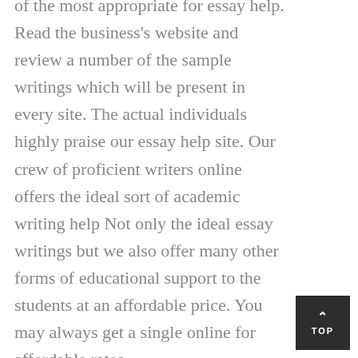of the most appropriate for essay help. Read the business's website and review a number of the sample writings which will be present in every site. The actual individuals highly praise our essay help site. Our crew of proficient writers online offers the ideal sort of academic writing help Not only the ideal essay writings but we also offer many other forms of educational support to the students at an affordable price. You may always get a single online for affordable rates.
You're in a position to envision what sort of an essay you're very likely to receive from a particular person who doesn't speak fluent English. Have a look at our